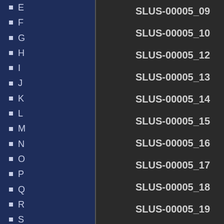E
F
G
H
I
J
K
L
M
N
O
P
Q
R
S
T
U
V
W
X
Y
SLUS-00005_09
SLUS-00005_10
SLUS-00005_12
SLUS-00005_13
SLUS-00005_14
SLUS-00005_15
SLUS-00005_16
SLUS-00005_17
SLUS-00005_18
SLUS-00005_19
SLUS-00005_20
SLUS-00005_21
SLUS-00005_25
SLUS-00005_26
SLUS-00005_27